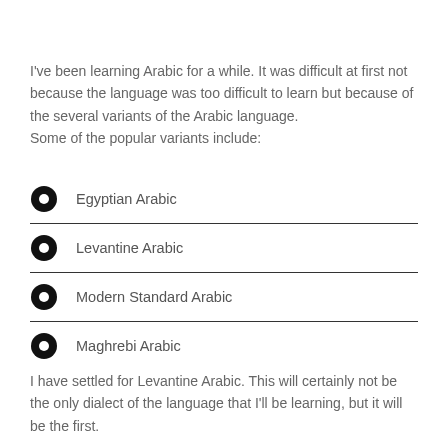I've been learning Arabic for a while. It was difficult at first not because the language was too difficult to learn but because of the several variants of the Arabic language.
Some of the popular variants include:
Egyptian Arabic
Levantine Arabic
Modern Standard Arabic
Maghrebi Arabic
I have settled for Levantine Arabic. This will certainly not be the only dialect of the language that I'll be learning, but it will be the first.